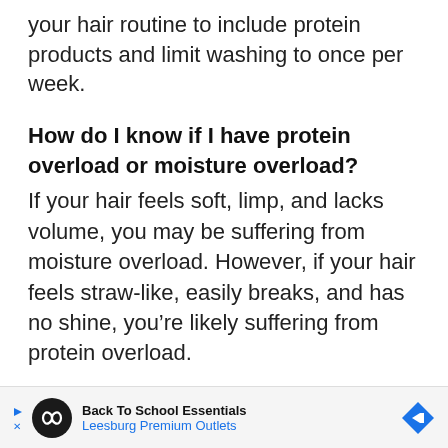your hair routine to include protein products and limit washing to once per week.
How do I know if I have protein overload or moisture overload?
If your hair feels soft, limp, and lacks volume, you may be suffering from moisture overload. However, if your hair feels straw-like, easily breaks, and has no shine, you’re likely suffering from protein overload.
[Figure (infographic): Advertisement banner for Back To School Essentials at Leesburg Premium Outlets, featuring a circular logo with infinity symbol, play and close icons, and a blue diamond-shaped arrow icon.]